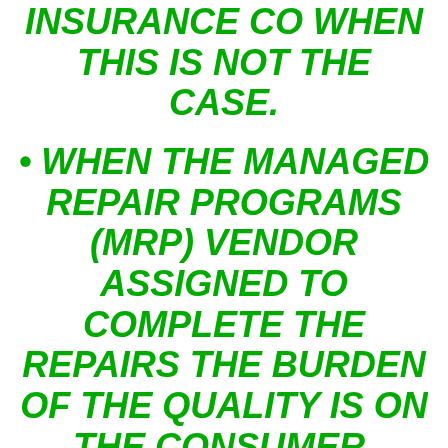INSURANCE CO WHEN THIS IS NOT THE CASE.
WHEN THE MANAGED REPAIR PROGRAMS (MRP) VENDOR ASSIGNED TO COMPLETE THE REPAIRS THE BURDEN OF THE QUALITY IS ON THE CONSUMER. WHEN A CONSUMER HAS NO CHOICE IN WHO MAKES THE